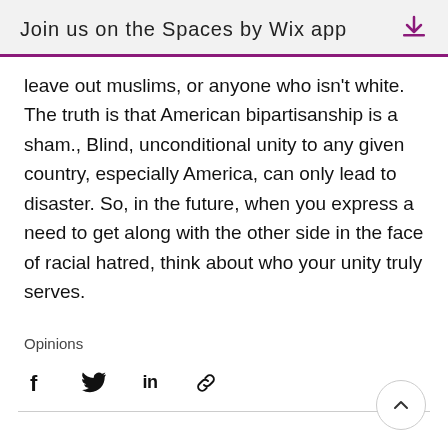Join us on the Spaces by Wix app
leave out muslims, or anyone who isn't white. The truth is that American bipartisanship is a sham., Blind, unconditional unity to any given country, especially America, can only lead to disaster. So, in the future, when you express a need to get along with the other side in the face of racial hatred, think about who your unity truly serves.
Opinions